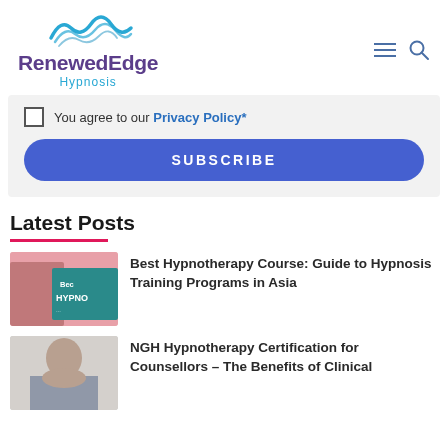[Figure (logo): RenewedEdge Hypnosis logo with teal wave arcs above purple/violet text 'RenewedEdge' and blue 'Hypnosis' subtitle]
You agree to our Privacy Policy*
SUBSCRIBE
Latest Posts
[Figure (photo): Thumbnail image showing a woman against a pink background with teal banner reading 'Bec HYPNO...']
Best Hypnotherapy Course: Guide to Hypnosis Training Programs in Asia
[Figure (photo): Thumbnail image showing a smiling woman in a blue/grey top]
NGH Hypnotherapy Certification for Counsellors – The Benefits of Clinical